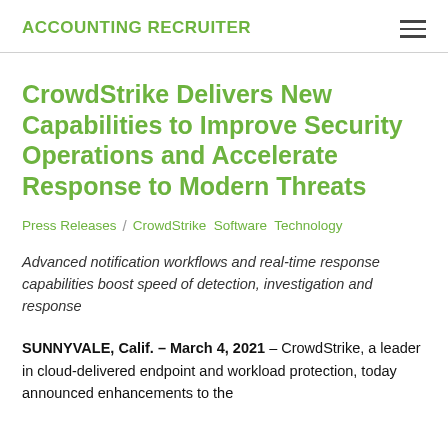ACCOUNTING RECRUITER
CrowdStrike Delivers New Capabilities to Improve Security Operations and Accelerate Response to Modern Threats
Press Releases / CrowdStrike Software Technology
Advanced notification workflows and real-time response capabilities boost speed of detection, investigation and response
SUNNYVALE, Calif. – March 4, 2021 – CrowdStrike, a leader in cloud-delivered endpoint and workload protection, today announced enhancements to the